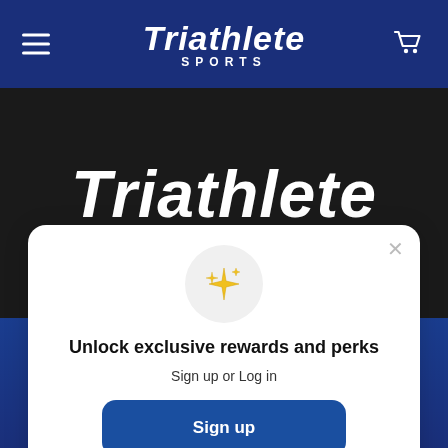Triathlete SPORTS
[Figure (logo): Triathlete Sports logo — large italic bold white text on dark background]
Unlock exclusive rewards and perks
Sign up or Log in
Sign up
Already have an account? Sign in